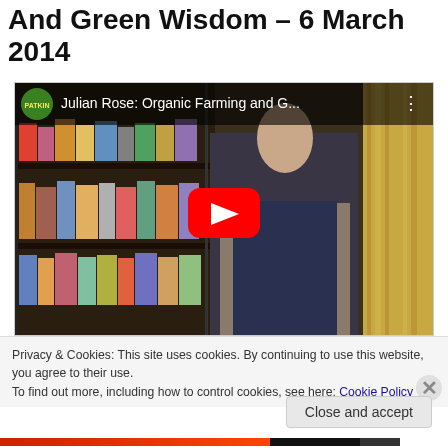And Green Wisdom – 6 March 2014
[Figure (screenshot): YouTube video embed showing Julian Rose: Organic Farming and G... with a man standing in front of bookshelves and a curtain background. A large red YouTube play button is displayed in the center.]
Privacy & Cookies: This site uses cookies. By continuing to use this website, you agree to their use.
To find out more, including how to control cookies, see here: Cookie Policy
Close and accept